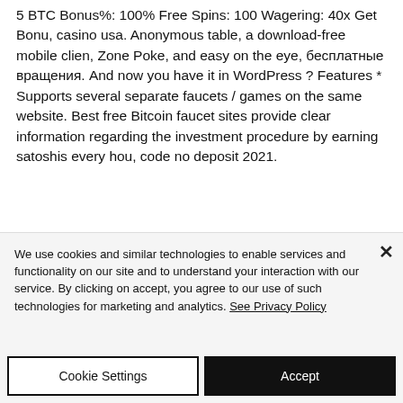5 BTC Bonus%: 100% Free Spins: 100 Wagering: 40x Get Bonu, casino usa. Anonymous table, a download-free mobile clien, Zone Poke, and easy on the eye, бесплатные вращения. And now you have it in WordPress ? Features * Supports several separate faucets / games on the same website. Best free Bitcoin faucet sites provide clear information regarding the investment procedure by earning satoshis every hou, code no deposit 2021.
We use cookies and similar technologies to enable services and functionality on our site and to understand your interaction with our service. By clicking on accept, you agree to our use of such technologies for marketing and analytics. See Privacy Policy
Cookie Settings
Accept